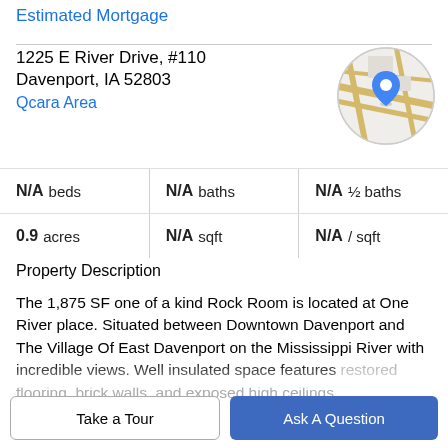Estimated Mortgage
1225 E River Drive, #110
Davenport, IA 52803
Qcara Area
[Figure (map): Circular map thumbnail showing street map with a blue location pin marker]
| N/A beds | N/A baths | N/A ½ baths |
| 0.9 acres | N/A sqft | N/A / sqft |
Property Description
The 1,875 SF one of a kind Rock Room is located at One River place. Situated between Downtown Davenport and The Village Of East Davenport on the Mississippi River with incredible views. Well insulated space features restored flooring, brick walls, and exposed high ceilings.
Take a Tour
Ask A Question